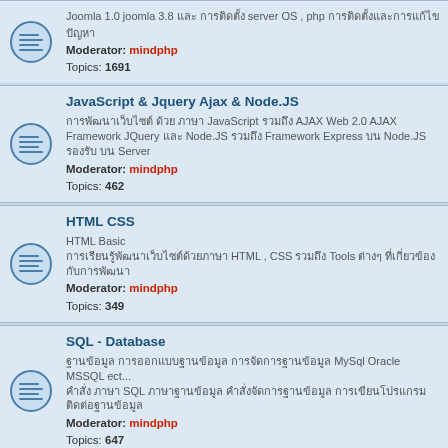Joomla 1.0 joomla 3.8 server OS , php
Moderator: mindphp
Topics: 1691
JavaScript & Jquery Ajax & Node.JS
Moderator: mindphp
Topics: 462
HTML CSS
HTML Basic
Moderator: mindphp
Topics: 349
SQL - Database
MySql Oracle MSSQL ect...
SQL
Moderator: mindphp
Topics: 647
Mobile Programming - Android, iOS, Window Phone
Mobile App SmartMobile, tablet Android, iOS, Window Phone
Moderators: mindphp,
Topics: 143
Moderators: mindphp,
Topics: 1033